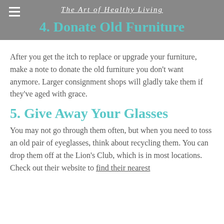The Art of Healthy Living
4. Donate Old Furniture
After you get the itch to replace or upgrade your furniture, make a note to donate the old furniture you don't want anymore. Larger consignment shops will gladly take them if they've aged with grace.
5. Give Away Your Glasses
You may not go through them often, but when you need to toss an old pair of eyeglasses, think about recycling them. You can drop them off at the Lion's Club, which is in most locations. Check out their website to find their nearest